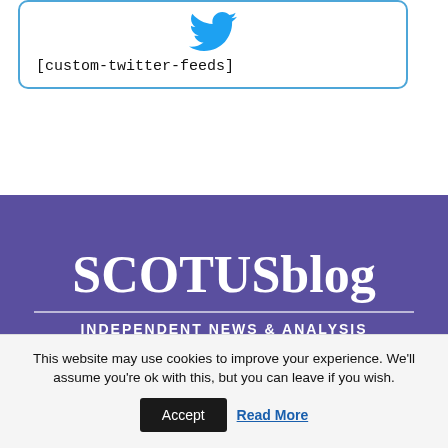[Figure (logo): Twitter bird icon in blue, centered inside a rounded-border box]
[custom-twitter-feeds]
[Figure (logo): SCOTUSblog logo on purple background with tagline INDEPENDENT NEWS & ANALYSIS]
This website may use cookies to improve your experience. We'll assume you're ok with this, but you can leave if you wish. Accept  Read More